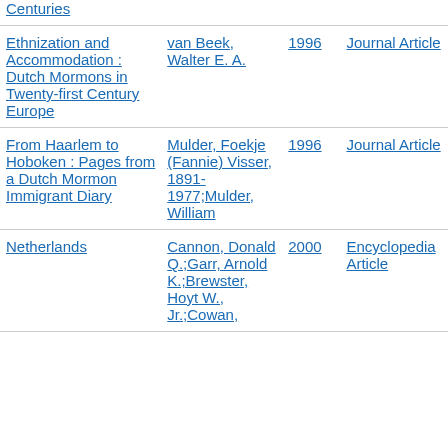| Title | Author | Year | Type |
| --- | --- | --- | --- |
| Centuries |  |  |  |
| Ethnization and Accommodation : Dutch Mormons in Twenty-first Century Europe | van Beek, Walter E. A. | 1996 | Journal Article |
| From Haarlem to Hoboken : Pages from a Dutch Mormon Immigrant Diary | Mulder, Foekje (Fannie) Visser, 1891-1977;Mulder, William | 1996 | Journal Article |
| Netherlands | Cannon, Donald Q.;Garr, Arnold K.;Brewster, Hoyt W., Jr.;Cowan, | 2000 | Encyclopedia Article |